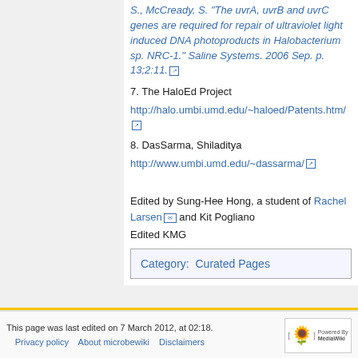S., McCready, S. "The uvrA, uvrB and uvrC genes are required for repair of ultraviolet light induced DNA photoproducts in Halobacterium sp. NRC-1." Saline Systems. 2006 Sep. p. 13;2:11.
7. The HaloEd Project
http://halo.umbi.umd.edu/~haloed/Patents.htm/
8. DasSarma, Shiladitya
http://www.umbi.umd.edu/~dassarma/
Edited by Sung-Hee Hong, a student of Rachel Larsen and Kit Pogliano
Edited KMG
Category:  Curated Pages
This page was last edited on 7 March 2012, at 02:18.
Privacy policy    About microbewiki    Disclaimers